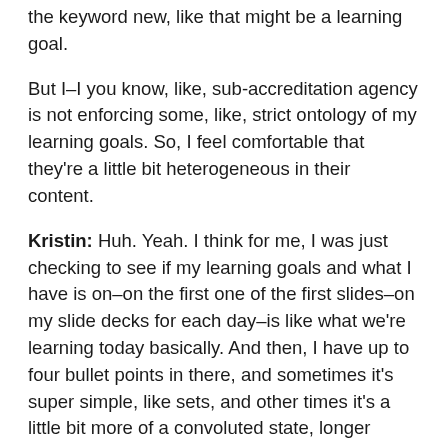the keyword new, like that might be a learning goal.
But I–I you know, like, sub-accreditation agency is not enforcing some, like, strict ontology of my learning goals. So, I feel comfortable that they're a little bit heterogeneous in their content.
Kristin: Huh. Yeah. I think for me, I was just checking to see if my learning goals and what I have is on–on the first one of the first slides–on my slide decks for each day–is like what we're learning today basically. And then, I have up to four bullet points in there, and sometimes it's super simple, like sets, and other times it's a little bit more of a convoluted state, longer statement, of like what we're going to learn today.
Colleen: Yeah. So, since my learning goals are broken